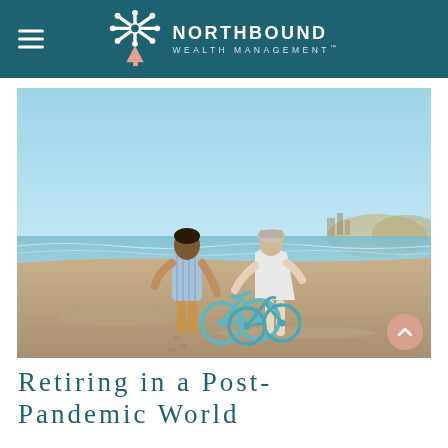NORTHBOUND WEALTH MANAGEMENT
[Figure (photo): Two elderly people standing on a beach with teal bicycles, viewed from behind, with ocean and sandy shore in background under a clear blue sky.]
Retiring in a Post-Pandemic World